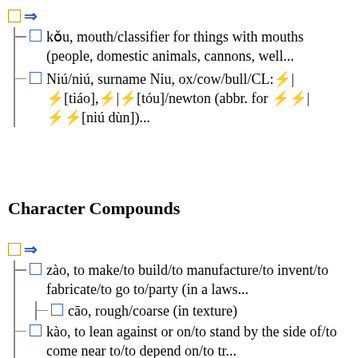⇒
□ kǒu, mouth/classifier for things with mouths (people, domestic animals, cannons, well...
□ Niú/niú, surname Niu, ox/cow/bull/CL:□|□[tiáo],□|□[tóu]/newton (abbr. for □□|□□[niú dùn])...
Character Compounds
⇒
□ zào, to make/to build/to manufacture/to invent/to fabricate/to go to/party (in a laws...
□ cāo, rough/coarse (in texture)
□ kào, to lean against or on/to stand by the side of/to come near to/to depend on/to tr...
□ ...